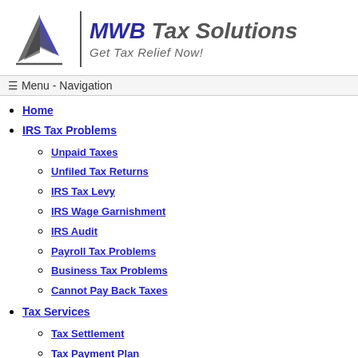[Figure (logo): MWB Tax Solutions logo with sailboat/arrow graphic, vertical divider, and text 'MWB Tax Solutions - Get Tax Relief Now!']
☰ Menu - Navigation
Home
IRS Tax Problems
Unpaid Taxes
Unfiled Tax Returns
IRS Tax Levy
IRS Wage Garnishment
IRS Audit
Payroll Tax Problems
Business Tax Problems
Cannot Pay Back Taxes
Tax Services
Tax Settlement
Tax Payment Plan